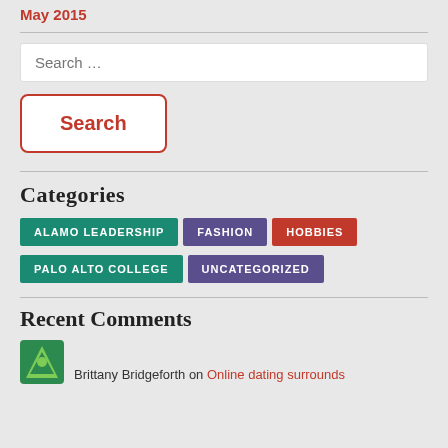May 2015
Search ...
Search
Categories
ALAMO LEADERSHIP
FASHION
HOBBIES
PALO ALTO COLLEGE
UNCATEGORIZED
Recent Comments
Brittany Bridgeforth on Online dating surrounds